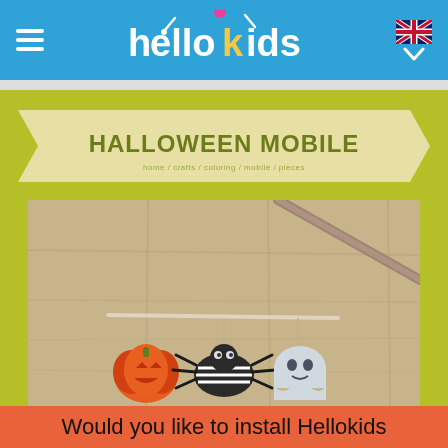HelloKids - Halloween Mobile
HALLOWEEN MOBILE
home / crafts / coloring / mobile / pieces
[Figure (photo): Photo of a Halloween mobile craft showing paper cutouts of a pumpkin, spider, and ghost hanging from a wooden dowel against a wooden background]
Would you like to install Hellokids